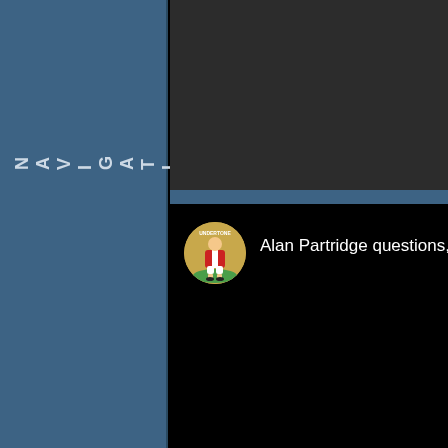NAVIGATION
[Figure (screenshot): Dark top bar area of a mobile app interface]
[Figure (illustration): Circular avatar icon showing a football/soccer player illustration with red and white kit, labelled UNDERTONE, on a golden background]
Alan Partridge questions, M